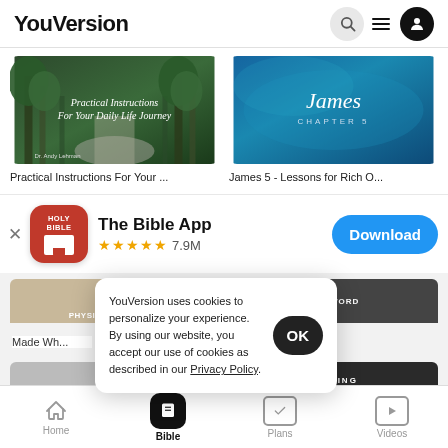YouVersion
[Figure (screenshot): Horizontal scrolling content cards: 'Practical Instructions For Your Daily Life Journey' (tree-lined path image) and 'James 5 - Lessons for Rich O...' (blue water/ocean image)]
Practical Instructions For Your ...
James 5 - Lessons for Rich O...
[Figure (screenshot): App install banner for 'The Bible App' with red Holy Bible icon, 5 gold stars rating, 7.9M reviews, and blue Download button]
The Bible App
★★★★★ 7.9M
[Figure (screenshot): Cookie consent popup: 'YouVersion uses cookies to personalize your experience. By using our website, you accept our use of cookies as described in our Privacy Policy.' with OK button]
Made Wh...
Home  Bible  Plans  Videos